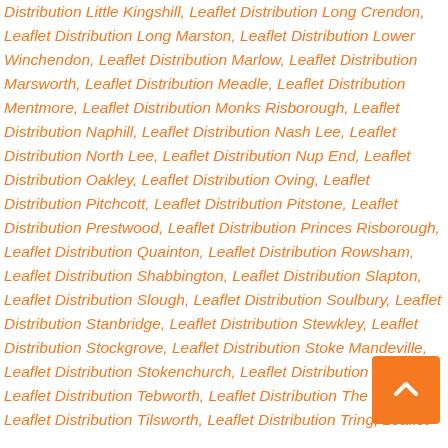Distribution Little Kingshill, Leaflet Distribution Long Crendon, Leaflet Distribution Long Marston, Leaflet Distribution Lower Winchendon, Leaflet Distribution Marlow, Leaflet Distribution Marsworth, Leaflet Distribution Meadle, Leaflet Distribution Mentmore, Leaflet Distribution Monks Risborough, Leaflet Distribution Naphill, Leaflet Distribution Nash Lee, Leaflet Distribution North Lee, Leaflet Distribution Nup End, Leaflet Distribution Oakley, Leaflet Distribution Oving, Leaflet Distribution Pitchcott, Leaflet Distribution Pitstone, Leaflet Distribution Prestwood, Leaflet Distribution Princes Risborough, Leaflet Distribution Quainton, Leaflet Distribution Rowsham, Leaflet Distribution Shabbington, Leaflet Distribution Slapton, Leaflet Distribution Slough, Leaflet Distribution Soulbury, Leaflet Distribution Stanbridge, Leaflet Distribution Stewkley, Leaflet Distribution Stockgrove, Leaflet Distribution Stoke Mandeville, Leaflet Distribution Stokenchurch, Leaflet Distribution Stone, Leaflet Distribution Tebworth, Leaflet Distribution The Kimble, Leaflet Distribution Tilsworth, Leaflet Distribution Tring, Leaflet